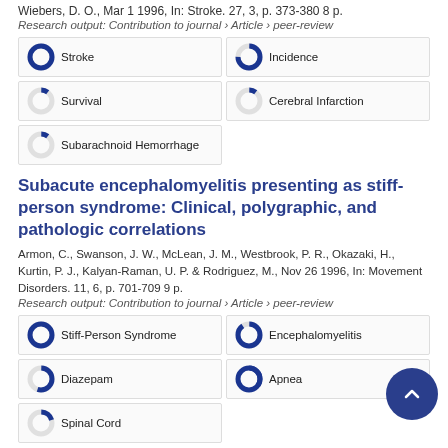Wiebers, D. O., Mar 1 1996, In: Stroke. 27, 3, p. 373-380 8 p.
Research output: Contribution to journal › Article › peer-review
[Figure (infographic): Keyword badges with donut chart icons: Stroke (100%), Incidence (~75%), Survival (~10%), Cerebral Infarction (~10%), Subarachnoid Hemorrhage (~10%)]
Subacute encephalomyelitis presenting as stiff-person syndrome: Clinical, polygraphic, and pathologic correlations
Armon, C., Swanson, J. W., McLean, J. M., Westbrook, P. R., Okazaki, H., Kurtin, P. J., Kalyan-Raman, U. P. & Rodriguez, M., Nov 26 1996, In: Movement Disorders. 11, 6, p. 701-709 9 p.
Research output: Contribution to journal › Article › peer-review
[Figure (infographic): Keyword badges with donut chart icons: Stiff-Person Syndrome (100%), Encephalomyelitis (~90%), Diazepam (~55%), Apnea (~35%), Spinal Cord (~20%)]